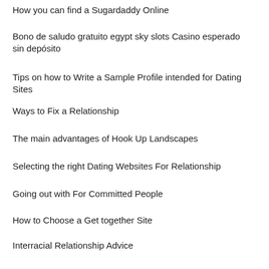How you can find a Sugardaddy Online
Bono de saludo gratuito egypt sky slots Casino esperado sin depósito
Tips on how to Write a Sample Profile intended for Dating Sites
Ways to Fix a Relationship
The main advantages of Hook Up Landscapes
Selecting the right Dating Websites For Relationship
Going out with For Committed People
How to Choose a Get together Site
Interracial Relationship Advice
How you can find a Bride On the web
What Should I Claim About Me on a Going out with Site?